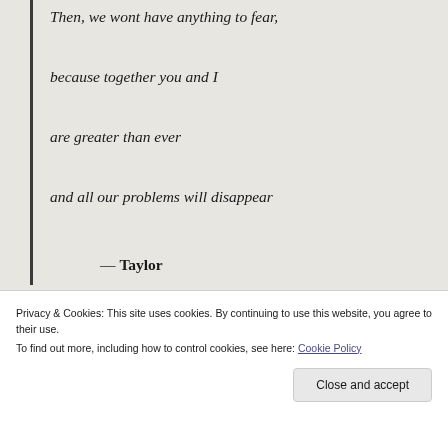we need each other's love to thrive

Then, we wont have anything to fear,

because together you and I

are greater than ever

and all our problems will disappear

— Taylor
[Figure (screenshot): Screenshot showing a podcast/media app 'Up Next' interface on a dark mobile UI, alongside a partial logo with blue curved letter on light background]
Privacy & Cookies: This site uses cookies. By continuing to use this website, you agree to their use.
To find out more, including how to control cookies, see here: Cookie Policy
Close and accept